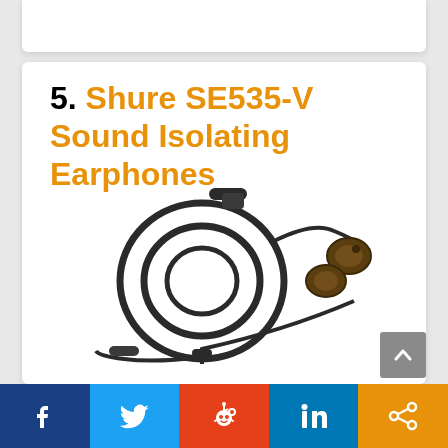5. Shure SE535-V Sound Isolating Earphones
[Figure (photo): Shure SE535-V sound isolating earphones with cable coiled showing 3.5mm TRRS connector and two earphone housings with detachable cable]
Facebook | Twitter | Reddit | LinkedIn | Share